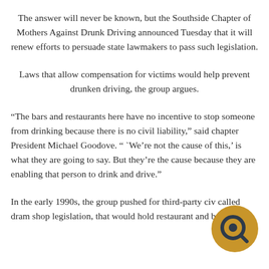The answer will never be known, but the Southside Chapter of Mothers Against Drunk Driving announced Tuesday that it will renew efforts to persuade state lawmakers to pass such legislation.
Laws that allow compensation for victims would help prevent drunken driving, the group argues.
“The bars and restaurants here have no incentive to stop someone from drinking because there is no civil liability,” said chapter President Michael Goodove. “ ‘We’re not the cause of this,’ is what they are going to say. But they’re the cause because they are enabling that person to drink and drive.”
In the early 1990s, the group pushed for third-party civil called dram shop legislation, that would hold restaurant and bar